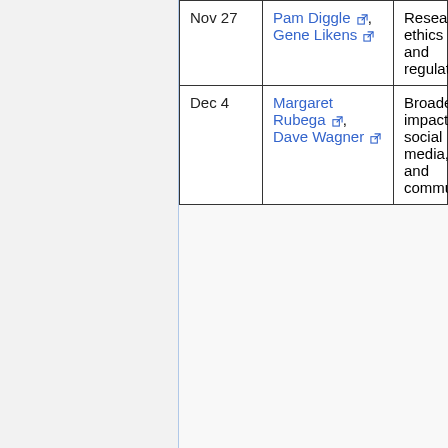| Date | Speaker(s) | Topic |
| --- | --- | --- |
| Nov 27 | Pam Diggle, Gene Likens | Research ethics and regulations |
| Dec 4 | Margaret Rubega, Dave Wagner | Broader impacts, social media, and communication |